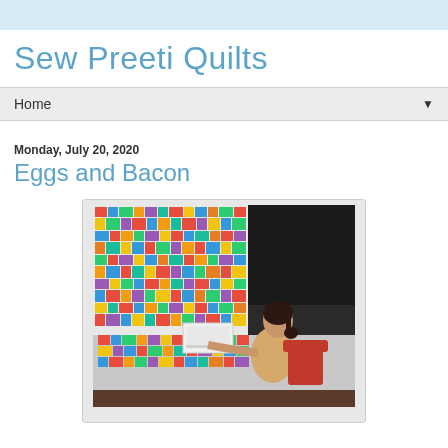Sew Preeti Quilts
Home ▼
Monday, July 20, 2020
Eggs and Bacon
[Figure (photo): A person sitting at a sewing machine working on a colorful quilt, with a large multi-colored patchwork quilt hanging on the wall behind them.]